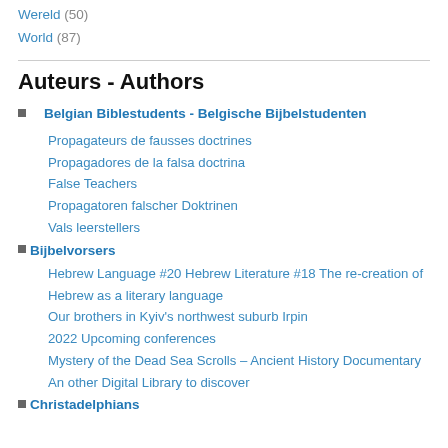Wereld (50)
World (87)
Auteurs - Authors
Belgian Biblestudents - Belgische Bijbelstudenten
Propagateurs de fausses doctrines
Propagadores de la falsa doctrina
False Teachers
Propagatoren falscher Doktrinen
Vals leerstellers
Bijbelvorsers
Hebrew Language #20 Hebrew Literature #18 The re-creation of Hebrew as a literary language
Our brothers in Kyiv's northwest suburb Irpin
2022 Upcoming conferences
Mystery of the Dead Sea Scrolls – Ancient History Documentary
An other Digital Library to discover
Christadelphians